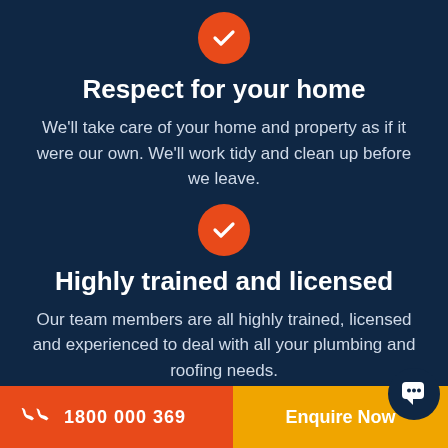[Figure (illustration): Orange circle with white checkmark icon]
Respect for your home
We'll take care of your home and property as if it were our own. We'll work tidy and clean up before we leave.
[Figure (illustration): Orange circle with white checkmark icon]
Highly trained and licensed
Our team members are all highly trained, licensed and experienced to deal with all your plumbing and roofing needs.
1800 000 369   Enquire Now